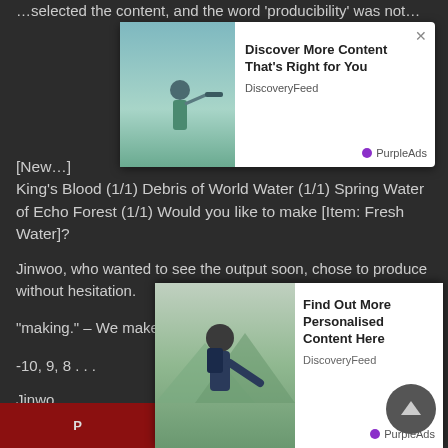…selected the content, and the word 'producibility' was not…
[Figure (screenshot): Advertisement popup overlay showing a person looking through a telescope, with text: Discover More Content That's Right for You. DiscoveryFeed. PurpleAds.]
[New…] King's Blood (1/1) Debris of World Water (1/1) Spring Water of Echo Forest (1/1) Would you like to make [Item: Fresh Water]?
Jinwoo, who wanted to see the output soon, chose to produce without hesitation.
“making.” – We make [item: new life].
-10, 9, 8 . . .
Jinwo…
[Figure (screenshot): Advertisement popup overlay showing a hiker reaching out hand, with text: Find Out More Personalised Content Here. DiscoveryFeed. PurpleAds.]